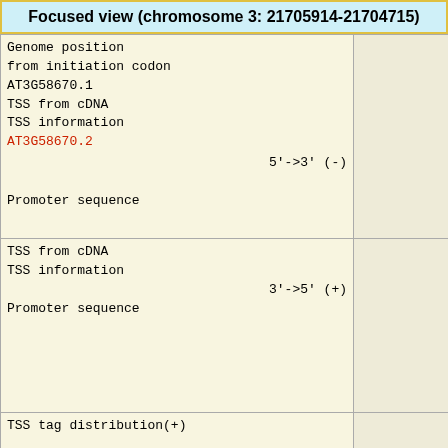Focused view (chromosome 3: 21705914-21704715)
| Genome position
from initiation codon
AT3G58670.1
TSS from cDNA
TSS information
AT3G58670.2   5'->3' (-)
Promoter sequence |  |
| TSS from cDNA
TSS information
3'->5' (+)
Promoter sequence |  |
| TSS tag distribution(+) |  |
| TSS tag distribution(-) |  |